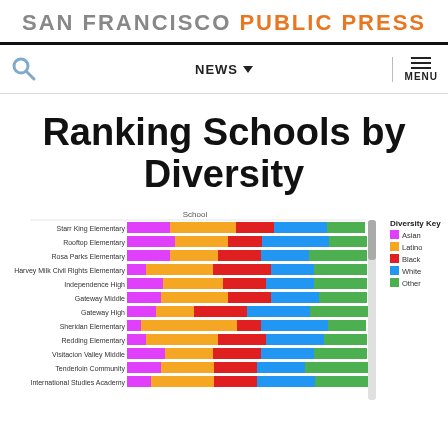SAN FRANCISCO PUBLIC PRESS
[Figure (screenshot): Navigation bar with search icon, NEWS dropdown, and MENU button]
Ranking Schools by Diversity
[Figure (stacked-bar-chart): School / Diversity Key]